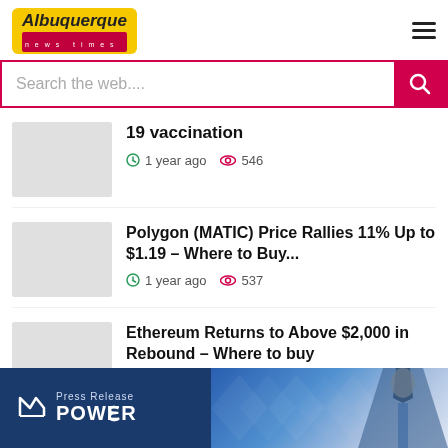Albuquerque news times
Search the web....
19 vaccination
1 year ago  546
Polygon (MATIC) Price Rallies 11% Up to $1.19 – Where to Buy...
1 year ago  537
Ethereum Returns to Above $2,000 in Rebound – Where to buy
1 year ago  524
[Figure (screenshot): Press Release Power advertisement banner at the bottom of the page]